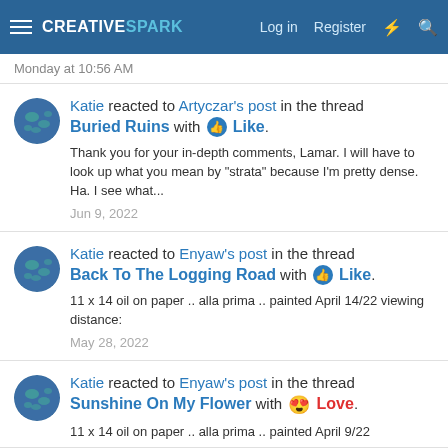CREATIVESPARK — Log in   Register
Monday at 10:56 AM
Katie reacted to Artyczar's post in the thread Buried Ruins with Like.
Thank you for your in-depth comments, Lamar. I will have to look up what you mean by "strata" because I'm pretty dense. Ha. I see what...
Jun 9, 2022
Katie reacted to Enyaw's post in the thread Back To The Logging Road with Like.
11 x 14 oil on paper .. alla prima .. painted April 14/22 viewing distance:
May 28, 2022
Katie reacted to Enyaw's post in the thread Sunshine On My Flower with Love.
11 x 14 oil on paper .. alla prima .. painted April 9/22